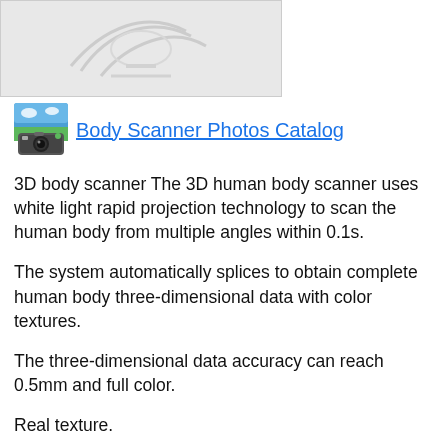[Figure (photo): Partial image of a 3D body scanner device, shown against a light gray background. The image is cropped at the top.]
Body Scanner Photos Catalog
3D body scanner The 3D human body scanner uses white light rapid projection technology to scan the human body from multiple angles within 0.1s.
The system automatically splices to obtain complete human body three-dimensional data with color textures.
The three-dimensional data accuracy can reach 0.5mm and full color.
Real texture.
The scanned data can be saved in standard formats such as ply, obj and seamlessly connected with 3D printers, and can be used in film and television animation, medical plastic